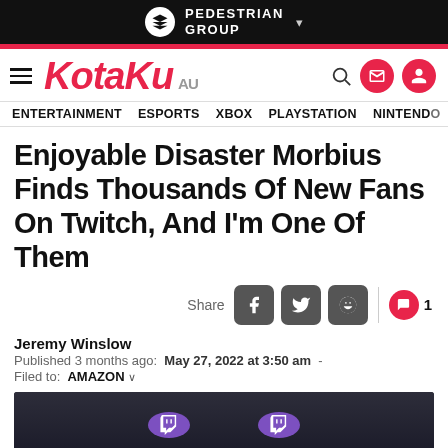PEDESTRIAN GROUP
[Figure (logo): Kotaku AU logo in red italic bold text with hamburger menu icon]
ENTERTAINMENT ESPORTS XBOX PLAYSTATION NINTENDO
Enjoyable Disaster Morbius Finds Thousands Of New Fans On Twitch, And I'm One Of Them
Share [Facebook] [Twitter] [Reddit] | 1 comment
Jeremy Winslow
Published 3 months ago: May 27, 2022 at 3:50 am -
Filed to: AMAZON
[Figure (photo): Dark screenshot showing a person's eyes with Twitch purple logos reflected in them, suggesting watching Morbius on Twitch]